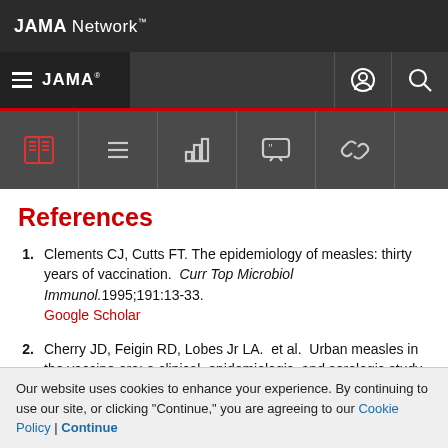JAMA Network
References
1. Clements CJ, Cutts FT. The epidemiology of measles: thirty years of vaccination. Curr Top Microbiol Immunol.1995;191:13-33. Google Scholar
2. Cherry JD, Feigin RD, Lobes Jr LA. et al. Urban measles in the vaccine era: a clinical, epidemiologic, and serologic study. J Pediatr.1972;81:217-230.
Our website uses cookies to enhance your experience. By continuing to use our site, or clicking "Continue," you are agreeing to our Cookie Policy | Continue